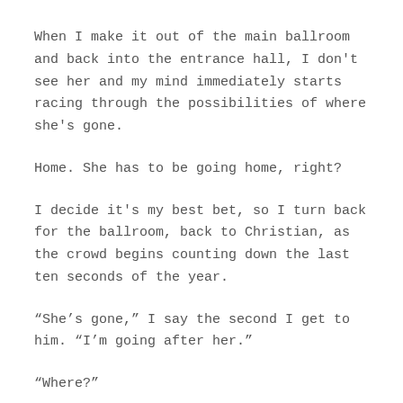When I make it out of the main ballroom and back into the entrance hall, I don't see her and my mind immediately starts racing through the possibilities of where she's gone.
Home. She has to be going home, right?
I decide it's my best bet, so I turn back for the ballroom, back to Christian, as the crowd begins counting down the last ten seconds of the year.
“She’s gone,” I say the second I get to him. “I’m going after her.”
“Where?”